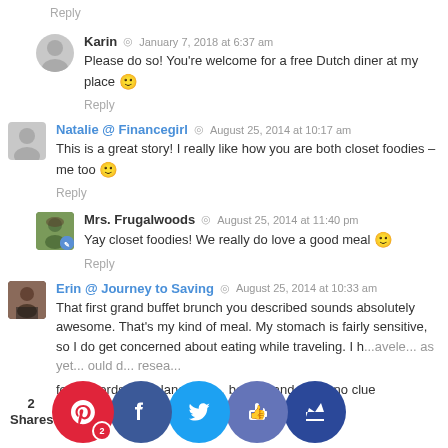Reply
Karin · January 7, 2018 at 6:37 am
Please do so! You're welcome for a free Dutch diner at my place 🙂
Reply
Natalie @ Financegirl · August 25, 2014 at 10:17 am
This is a great story! I really like how you are both closet foodies – me too 🙂
Reply
Mrs. Frugalwoods · August 25, 2014 at 11:40 pm
Yay closet foodies! We really do love a good meal 🙂
Reply
Erin @ Journey to Saving · August 25, 2014 at 10:33 am
That first grand buffet brunch you described sounds absolutely awesome. That's my kind of meal. My stomach is fairly sensitive, so I do get concerned about eating while traveling. I h... traveled... as yet... ould d... resea... few... words in... r language... beforehand... ave no clue...
[Figure (infographic): Social share bar with 2 Shares label. Buttons: Pinterest (red, 2), Facebook (dark blue), Twitter (light blue), Like/thumbs up (purple-blue), Crown (dark blue).]